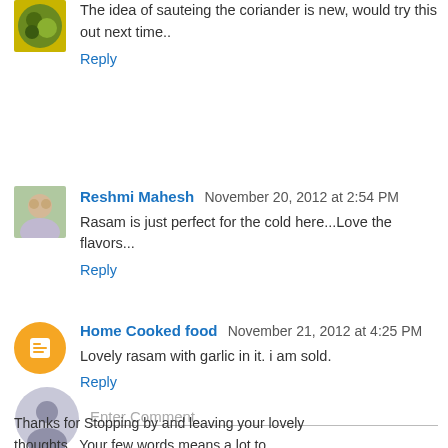The idea of sauteing the coriander is new, would try this out next time..
Reply
Reshmi Mahesh  November 20, 2012 at 2:54 PM
Rasam is just perfect for the cold here...Love the flavors...
Reply
Home Cooked food  November 21, 2012 at 4:25 PM
Lovely rasam with garlic in it. i am sold.
Reply
Enter Comment
Thanks for Stopping by and leaving your lovely thoughts.. Your few words means a lot to